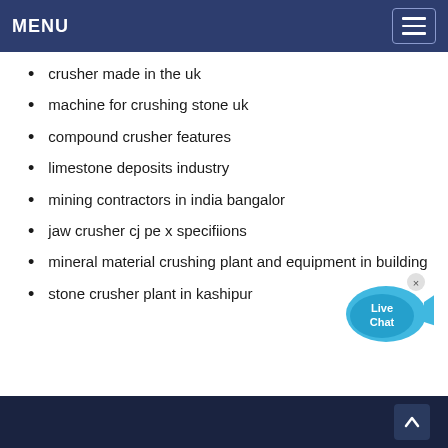MENU
crusher made in the uk
machine for crushing stone uk
compound crusher features
limestone deposits industry
mining contractors in india bangalor
jaw crusher cj pe x specifiions
mineral material crushing plant and equipment in building
stone crusher plant in kashipur
[Figure (illustration): Live Chat button with speech bubble icon in blue and cyan colors with a close (x) button]